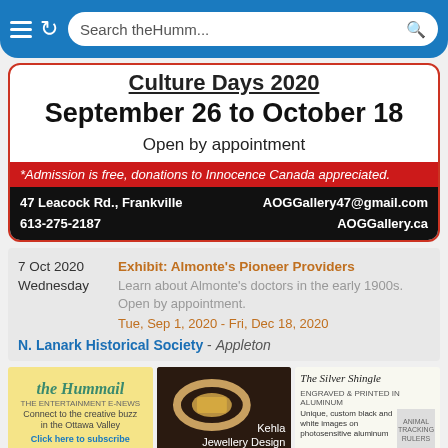[Figure (screenshot): Mobile browser chrome bar with menu icon, refresh icon, and search box showing 'Search theHumm...']
Culture Days 2020
September 26 to October 18
Open by appointment
*Admission is free, donations to Innocence Canada appreciated.
47 Leacock Rd., Frankville   AOGGallery47@gmail.com
613-275-2187   AOGGallery.ca
7 Oct 2020
Wednesday
Exhibit: Almonte's Pioneer Providers
Learn about Almonte's doctors in the early 1900s. Open by appointment.
Tue, Sep 1, 2020 - Fri, Dec 18, 2020
N. Lanark Historical Society - Appleton
[Figure (advertisement): Hummail ad: Connect to the creative buzz in the Ottawa Valley. Click here to subscribe.]
[Figure (advertisement): Kehla Jewellery Design ad with ring photo]
[Figure (advertisement): The Silver Shingle ad: Unique, custom black and white images on photosensitive aluminum]